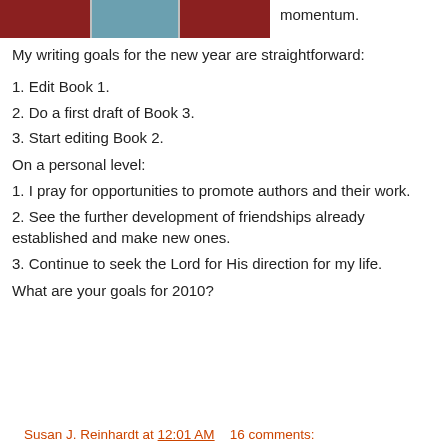[Figure (photo): Partial image of people or figures with dark red/maroon coloring at the top left, cropped]
momentum.
My writing goals for the new year are straightforward:
1. Edit Book 1.
2. Do a first draft of Book 3.
3. Start editing Book 2.
On a personal level:
1. I pray for opportunities to promote authors and their work.
2. See the further development of friendships already established and make new ones.
3. Continue to seek the Lord for His direction for my life.
What are your goals for 2010?
Susan J. Reinhardt at 12:01 AM    16 comments: